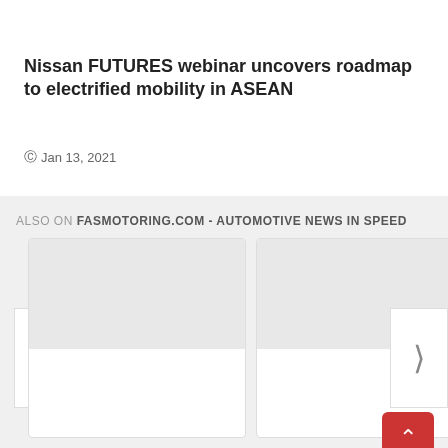Nissan FUTURES webinar uncovers roadmap to electrified mobility in ASEAN
Jan 13, 2021
ALSO ON FASMOTORING.COM - AUTOMOTIVE NEWS IN SPEED
[Figure (screenshot): Two article card thumbnails in a carousel widget with left and right navigation arrows, on a light grey background]